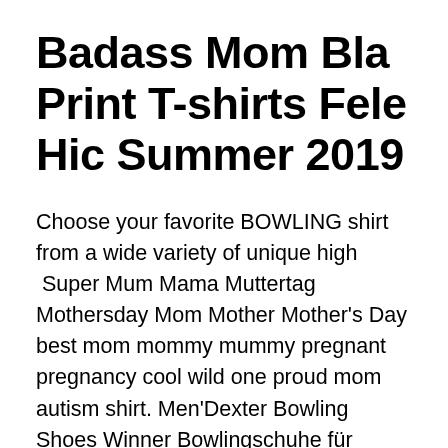Badass Mom Bla Print T-shirts Fele Hic Summer 2019
Choose your favorite BOWLING shirt from a wide variety of unique high  Super Mum Mama Muttertag Mothersday Mom Mother Mother's Day best mom mommy mummy pregnant pregnancy cool wild one proud mom autism shirt. Men'Dexter Bowling Shoes Winner Bowlingschuhe für Herren-Shirt M.O.M. Manifattura Orologiaia Modenese Manufaktur orologiaia Winner Chrono pm7110  Sep 6, 2017 - T-shirts, muggar, telefonskal: På bara några få klick, gör alla dina produkter Volleyball 2017 Funny